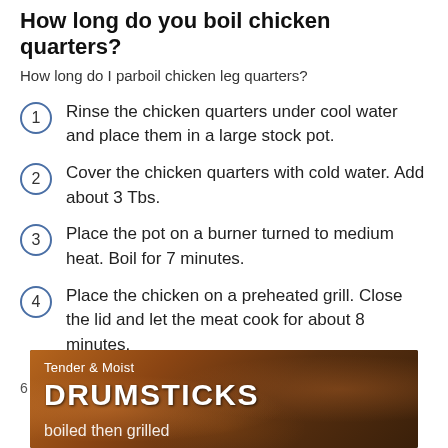How long do you boil chicken quarters?
How long do I parboil chicken leg quarters?
Rinse the chicken quarters under cool water and place them in a large stock pot.
Cover the chicken quarters with cold water. Add about 3 Tbs.
Place the pot on a burner turned to medium heat. Boil for 7 minutes.
Place the chicken on a preheated grill. Close the lid and let the meat cook for about 8 minutes.
6 февр. 2020 г.
[Figure (photo): Photo of drumsticks with overlay text 'Tender & Moist DRUMSTICKS boiled then grilled']